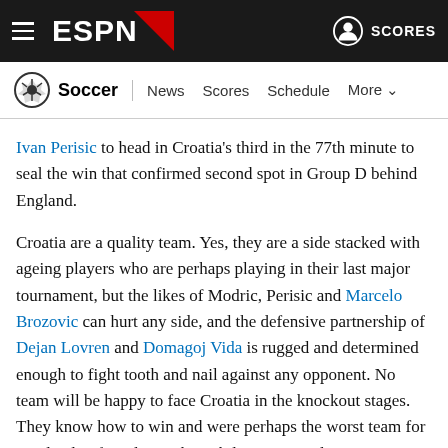ESPN - Soccer | News Scores Schedule More
Ivan Perisic to head in Croatia's third in the 77th minute to seal the win that confirmed second spot in Group D behind England.
Croatia are a quality team. Yes, they are a side stacked with ageing players who are perhaps playing in their last major tournament, but the likes of Modric, Perisic and Marcelo Brozovic can hurt any side, and the defensive partnership of Dejan Lovren and Domagoj Vida is rugged and determined enough to fight tooth and nail against any opponent. No team will be happy to face Croatia in the knockout stages. They know how to win and were perhaps the worst team for Scotland to face due to their ability to control a game.
"It...